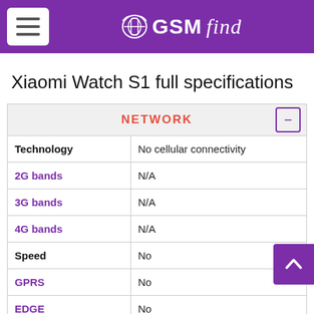GSMfind
Xiaomi Watch S1 full specifications
|  | NETWORK |
| --- | --- |
| Technology | No cellular connectivity |
| 2G bands | N/A |
| 3G bands | N/A |
| 4G bands | N/A |
| Speed | No |
| GPRS | No |
| EDGE | No |
|  | LAUNCH |